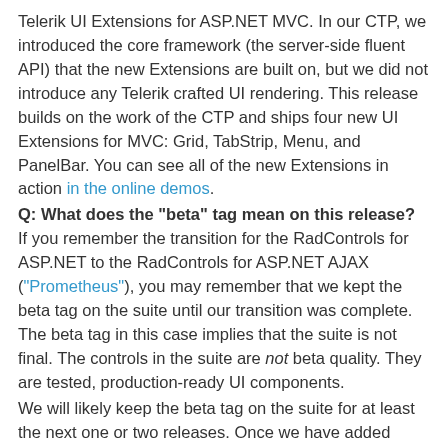Telerik UI Extensions for ASP.NET MVC. In our CTP, we introduced the core framework (the server-side fluent API) that the new Extensions are built on, but we did not introduce any Telerik crafted UI rendering. This release builds on the work of the CTP and ships four new UI Extensions for MVC: Grid, TabStrip, Menu, and PanelBar. You can see all of the new Extensions in action in the online demos.
Q: What does the "beta" tag mean on this release? If you remember the transition for the RadControls for ASP.NET to the RadControls for ASP.NET AJAX ("Prometheus"), you may remember that we kept the beta tag on the suite until our transition was complete. The beta tag in this case implies that the suite is not final. The controls in the suite are not beta quality. They are tested, production-ready UI components.
We will likely keep the beta tag on the suite for at least the next one or two releases. Once we have added more UI Extensions to the suite and it represents a more complete LOB toolbox offering, we'll remove the beta tag. Of course, these are open source controls, so you can always modify the current versions if you find some bug or issue you want changed during our "beta" period.